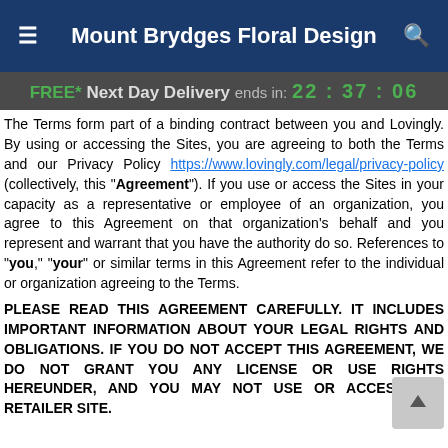Mount Brydges Floral Design
FREE* Next Day Delivery ends in: 22:37:06
The Terms form part of a binding contract between you and Lovingly. By using or accessing the Sites, you are agreeing to both the Terms and our Privacy Policy https://www.lovingly.com/legal/privacy-policy (collectively, this "Agreement"). If you use or access the Sites in your capacity as a representative or employee of an organization, you agree to this Agreement on that organization's behalf and you represent and warrant that you have the authority do so. References to "you," "your" or similar terms in this Agreement refer to the individual or organization agreeing to the Terms.
PLEASE READ THIS AGREEMENT CAREFULLY. IT INCLUDES IMPORTANT INFORMATION ABOUT YOUR LEGAL RIGHTS AND OBLIGATIONS. IF YOU DO NOT ACCEPT THIS AGREEMENT, WE DO NOT GRANT YOU ANY LICENSE OR USE RIGHTS HEREUNDER, AND YOU MAY NOT USE OR ACCESS THE RETAILER SITE.